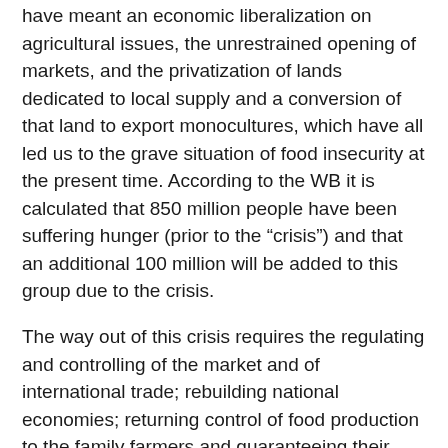have meant an economic liberalization on agricultural issues, the unrestrained opening of markets, and the privatization of lands dedicated to local supply and a conversion of that land to export monocultures, which have all led us to the grave situation of food insecurity at the present time. According to the WB it is calculated that 850 million people have been suffering hunger (prior to the "crisis") and that an additional 100 million will be added to this group due to the crisis.
The way out of this crisis requires the regulating and controlling of the market and of international trade; rebuilding national economies; returning control of food production to the family farmers and guaranteeing their access to land, seeds and water; getting agriculture out of the free trade agreements and the WTO; and putting an end to the speculation on hunger.
The market cannot solve this problem. To counter the declarations of the number 2 at the FAO, José María Sumpsi,